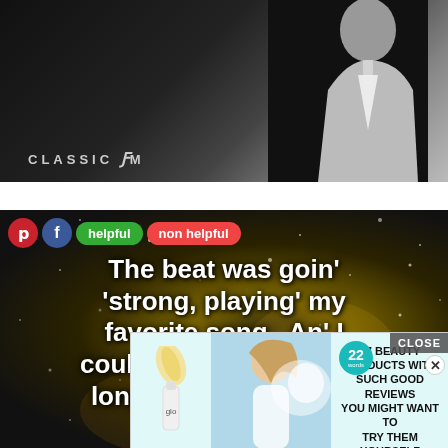[Figure (photo): Black and white photo with Classic FM logo watermark at bottom left. Dark background with a person silhouette at top right.]
[Figure (photo): Quote image with dark sparkly background reading: 'The beat was goin' strong, playing' my favorite song. An' I could tell it wouldn't be long 'til he was with...' with Pinterest, Facebook, helpful and non helpful buttons overlaid at top.]
[Figure (photo): Advertisement overlay for '37 Beauty Products With Such Good Reviews You Might Want To Try Them Yourself' with a glo product bottle and model image. 22 badge shown. Close button at top right.]